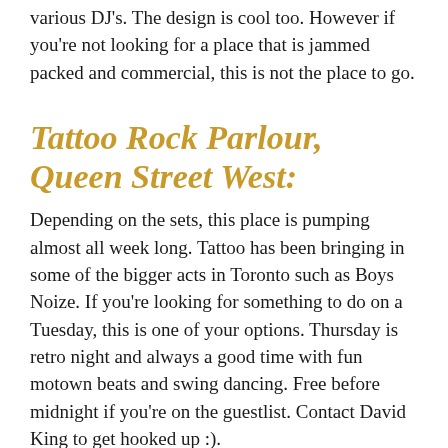various DJ's. The design is cool too. However if you're not looking for a place that is jammed packed and commercial, this is not the place to go.
Tattoo Rock Parlour, Queen Street West:
Depending on the sets, this place is pumping almost all week long. Tattoo has been bringing in some of the bigger acts in Toronto such as Boys Noize. If you're looking for something to do on a Tuesday, this is one of your options. Thursday is retro night and always a good time with fun motown beats and swing dancing. Free before midnight if you're on the guestlist. Contact David King to get hooked up :).
The Social
: Pretty cool club, but I frequent it less often. Come here to see local Toronto DJ's tear it up. Weekends are good, but if you're around on a Monday it